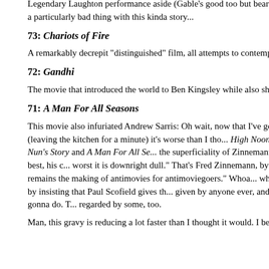Legendary Laughton performance aside (Gable's good too but bear w... Prestige written all over it, a particularly bad thing with this kinda story...
73: Chariots of Fire
A remarkably decrepit “distinguished” film, all attempts to contemporiz... notwithstanding.
72: Gandhi
The movie that introduced the world to Ben Kingsley while also showca... his range. Watchable.
71: A Man For All Seasons
This movie also infuriated Andrew Sarris: Oh wait, now that I’ve gone a... American Cinema (leaving the kitchen for a minute) it’s worse than I tho... High Noon, From Here To Eternity, The Nun’s Story and A Man For All Se... the superficiality of Zinnemann’s personal commitment. At its best, his c... worst it is downright dull.” That’s Fred Zinnemann, by the way. Andrew’s... vocation remains the making of antimovies for antimoviegoers.” Whoa... who’ll react to a dis of this movie by insisting that Paul Scofield gives th... given by anyone ever, and he is pretty good. What are you gonna do. T... regarded by some, too.
Man, this gravy is reducing a lot faster than I thought it would. I better g...